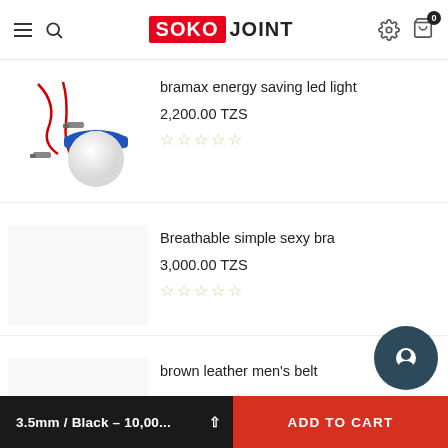SOKO JOINT
[Figure (photo): LED light bulb with red/black wires and alligator clips on white background]
bramax energy saving led light
2,200.00 TZS
☆☆☆☆☆
Breathable simple sexy bra
3,000.00 TZS
☆☆☆☆☆
brown leather men's belt
3.5mm / Black – 10,00...   ADD TO CART